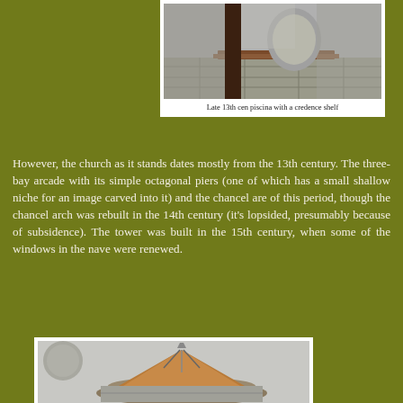[Figure (photo): Photo of a late 13th century piscina with a credence shelf, showing stone masonry and a wooden shelf]
Late 13th cen piscina with a credence shelf
However, the church as it stands dates mostly from the 13th century. The three-bay arcade with its simple octagonal piers (one of which has a small shallow niche for an image carved into it) and the chancel are of this period, though the chancel arch was rebuilt in the 14th century (it's lopsided, presumably because of subsidence). The tower was built in the 15th century, when some of the windows in the nave were renewed.
[Figure (photo): Photo of a church model or architectural feature showing a conical or domed roof structure with metalwork]